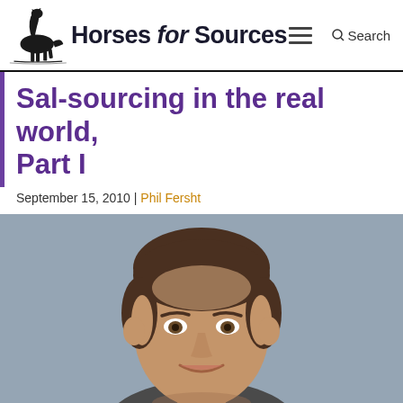Horses for Sources
Sal-sourcing in the real world, Part I
September 15, 2010 | Phil Fersht
[Figure (photo): Headshot portrait of a middle-aged man with short brown hair, smiling, against a grey background]